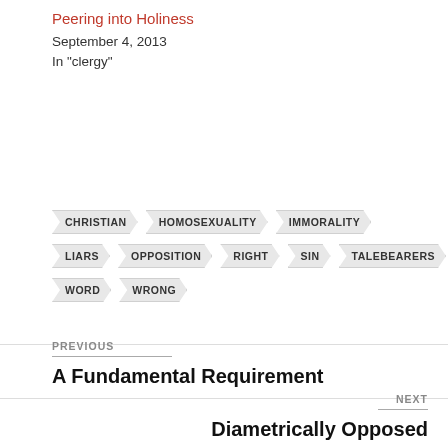Peering into Holiness
September 4, 2013
In "clergy"
CHRISTIAN
HOMOSEXUALITY
IMMORALITY
LIARS
OPPOSITION
RIGHT
SIN
TALEBEARERS
WORD
WRONG
PREVIOUS
A Fundamental Requirement
NEXT
Diametrically Opposed